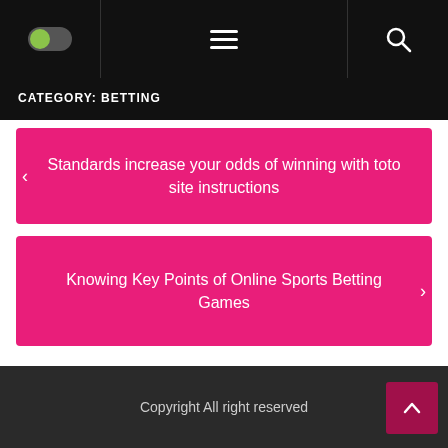CATEGORY: BETTING
Standards increase your odds of winning with toto site instructions
Knowing Key Points of Online Sports Betting Games
Copyright All right reserved